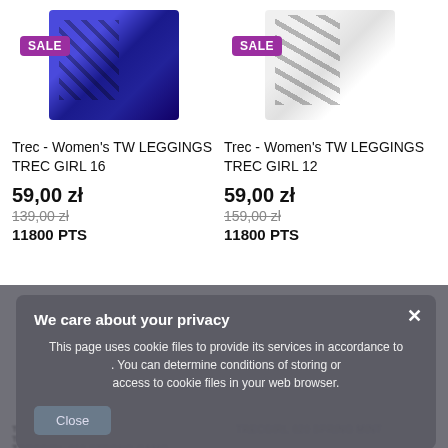[Figure (photo): Blue patterned women's leggings with SALE badge]
Trec - Women's TW LEGGINGS TREC GIRL 16
59,00 zł
139,00 zł
11800 PTS
[Figure (photo): White/black patterned women's leggings with SALE badge]
Trec - Women's TW LEGGINGS TREC GIRL 12
59,00 zł
159,00 zł
11800 PTS
We care about your privacy
This page uses cookie files to provide its services in accordance to . You can determine conditions of storing or access to cookie files in your web browser.
Close
TRECGIRL 019 STRONG CAMO
TRECGIRL 020 SPRING MINT